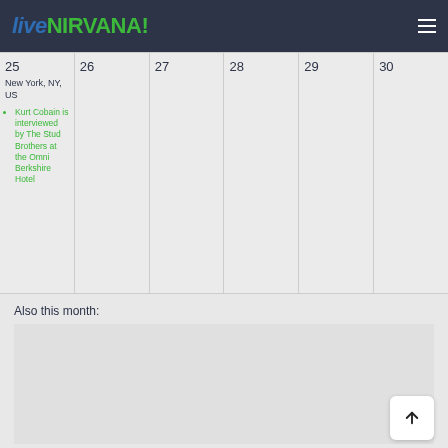liveNIRVANA!
| 25 | 26 | 27 | 28 | 29 | 30 |
| --- | --- | --- | --- | --- | --- |
| New York, NY, US
Kurt Cobain is interviewed by The Stud Brothers at the Omni Berkshire Hotel |  |  |  |  |  |
Also this month: